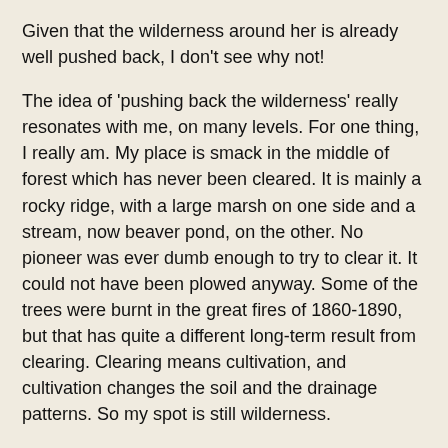Given that the wilderness around her is already well pushed back, I don't see why not!
The idea of 'pushing back the wilderness' really resonates with me, on many levels. For one thing, I really am. My place is smack in the middle of forest which has never been cleared. It is mainly a rocky ridge, with a large marsh on one side and a stream, now beaver pond, on the other. No pioneer was ever dumb enough to try to clear it. It could not have been plowed anyway. Some of the trees were burnt in the great fires of 1860-1890, but that has quite a different long-term result from clearing. Clearing means cultivation, and cultivation changes the soil and the drainage patterns. So my spot is still wilderness.
The bear that came and smashed my bird feeders (again) is at home. I have to remember that.
The sumachs, maples, horsetails and other wild things that keep coming up in my garden want their wilderness back. I get no chance to forget that.